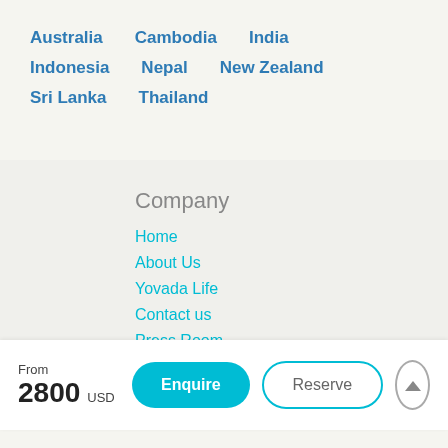Australia  Cambodia  India  Indonesia  Nepal  New Zealand  Sri Lanka  Thailand
Company
Home
About Us
Yovada Life
Contact us
Press Room
From 2800 USD
Enquire
Reserve